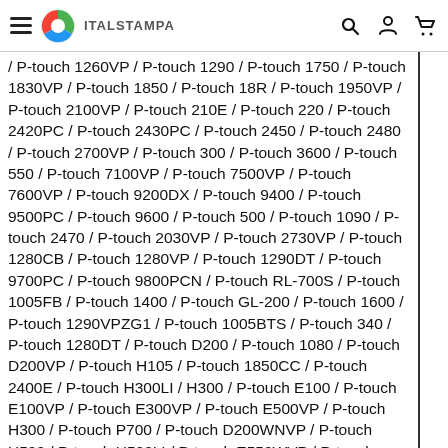ITALSTAMPA
/ P-touch 1260VP / P-touch 1290 / P-touch 1750 / P-touch 1830VP / P-touch 1850 / P-touch 18R / P-touch 1950VP / P-touch 2100VP / P-touch 210E / P-touch 220 / P-touch 2420PC / P-touch 2430PC / P-touch 2450 / P-touch 2480 / P-touch 2700VP / P-touch 300 / P-touch 3600 / P-touch 550 / P-touch 7100VP / P-touch 7500VP / P-touch 7600VP / P-touch 9200DX / P-touch 9400 / P-touch 9500PC / P-touch 9600 / P-touch 500 / P-touch 1090 / P-touch 2470 / P-touch 2030VP / P-touch 2730VP / P-touch 1280CB / P-touch 1280VP / P-touch 1290DT / P-touch 9700PC / P-touch 9800PCN / P-touch RL-700S / P-touch 1005FB / P-touch 1400 / P-touch GL-200 / P-touch 1600 / P-touch 1290VPZG1 / P-touch 1005BTS / P-touch 340 / P-touch 1280DT / P-touch D200 / P-touch 1080 / P-touch D200VP / P-touch H105 / P-touch 1850CC / P-touch 2400E / P-touch H300LI / H300 / P-touch E100 / P-touch E100VP / P-touch E300VP / P-touch E500VP / P-touch H300 / P-touch P700 / P-touch D200WNVP / P-touch H500 / P-touch H500LI / P-touch E550WVP / P-touch P750W / P-touch D450VP / P-touch D600VP / P-touch H105WB / P-touch H100LB / P-touch D400 / P-touch P750TDI / P-touch D800W / P-touch P300BT / P-touch H200 / P-